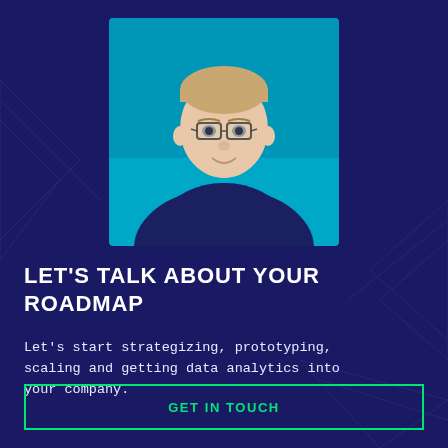[Figure (photo): Professional headshot of a young man with glasses wearing a dark navy suit and white shirt, photographed against a bright teal/blue background]
LET'S TALK ABOUT YOUR ROADMAP
Let's start strategizing, prototyping, scaling and getting data analytics into your company.
GET IN TOUCH